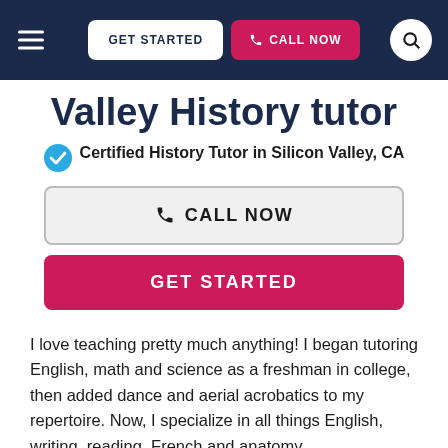GET STARTED | CALL NOW
Valley History tutor
Certified History Tutor in Silicon Valley, CA
CALL NOW
GET STARTED
I love teaching pretty much anything! I began tutoring English, math and science as a freshman in college, then added dance and aerial acrobatics to my repertoire. Now, I specialize in all things English, writing, reading, French and anatomy.